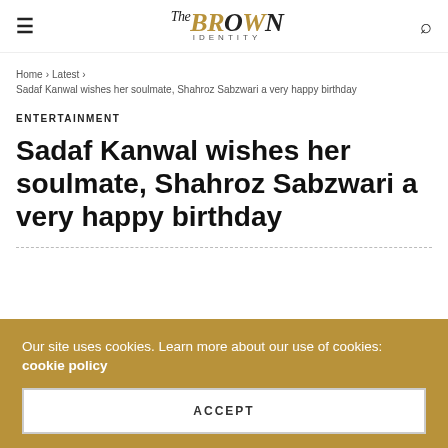The BROWN IDENTITY
Home > Latest > Sadaf Kanwal wishes her soulmate, Shahroz Sabzwari a very happy birthday
ENTERTAINMENT
Sadaf Kanwal wishes her soulmate, Shahroz Sabzwari a very happy birthday
Our site uses cookies. Learn more about our use of cookies: cookie policy